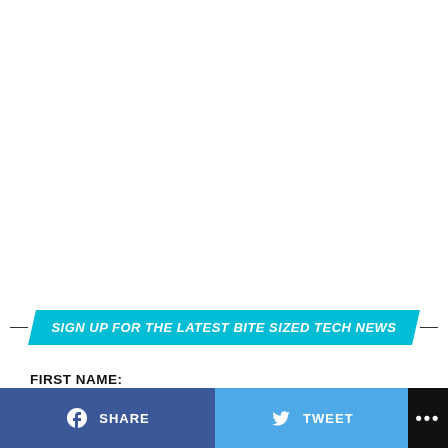SIGN UP FOR THE LATEST BITE SIZED TECH NEWS
FIRST NAME:
EMAIL ADDRESS:
SHARE   TWEET   ...